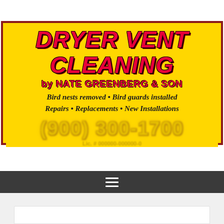[Figure (advertisement): Yellow advertisement banner for 'Dryer Vent Cleaning by Nate Greenberg & Son' with red bold italic title text, listing services: Bird nests removed, Bird guards installed, Repairs, Replacements, New Installations. Includes a blurred phone number, license info, and website URL.]
[Figure (screenshot): Dark gray navigation bar with a white hamburger menu icon (three horizontal lines) centered on it, followed by a light gray content area with a white box at the bottom.]